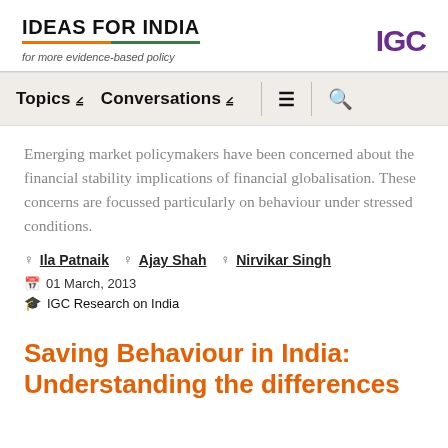IDEAS FOR INDIA — for more evidence-based policy | IGC
Topics  Conversations  ≡  🔍
Emerging market policymakers have been concerned about the financial stability implications of financial globalisation. These concerns are focussed particularly on behaviour under stressed conditions.
Ila Patnaik  Ajay Shah  Nirvikar Singh
01 March, 2013
IGC Research on India
Saving Behaviour in India: Understanding the differences